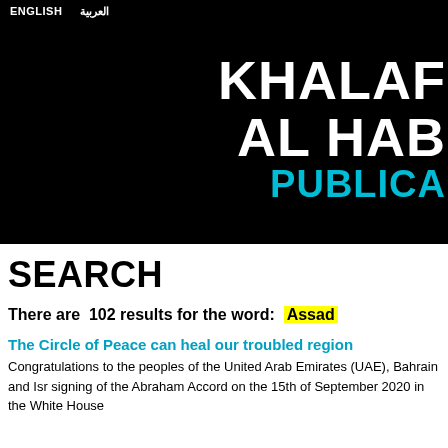ENGLISH  العربية
[Figure (logo): Black hero banner with white bold text 'KHALAF AL HAB' and cyan text 'PUBLICA' — partial logo/branding for Khalaf Al Habtoor Publications]
SEARCH
There are  102 results for the word:  Assad
The Circle of Peace can heal our troubled region
Congratulations to the peoples of the United Arab Emirates (UAE), Bahrain and Isr signing of the Abraham Accord on the 15th of September 2020 in the White House